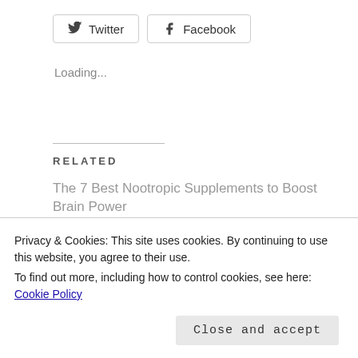[Figure (other): Social share buttons: Twitter and Facebook]
Loading...
RELATED
The 7 Best Nootropic Supplements to Boost Brain Power
June 19, 2020
In "BioHacking"
How to Use Powerful Smoothies to Increase Your
Privacy & Cookies: This site uses cookies. By continuing to use this website, you agree to their use.
To find out more, including how to control cookies, see here: Cookie Policy